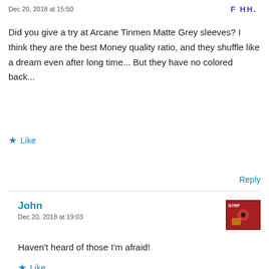Dec 20, 2018 at 15:50
Did you give a try at Arcane Tinmen Matte Grey sleeves? I think they are the best Money quality ratio, and they shuffle like a dream even after long time... But they have no colored back...
★ Like
Reply
John
Dec 20, 2018 at 19:03
Haven't heard of those I'm afraid!
★ Like